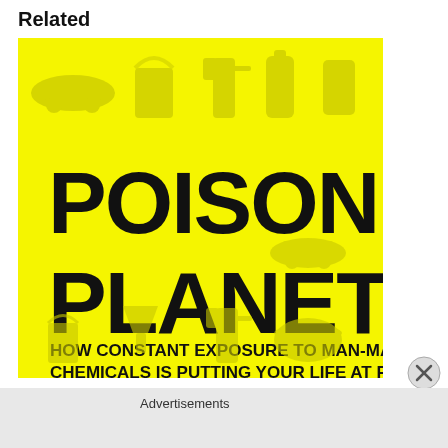Related
[Figure (illustration): Book cover for 'Poisoned Planet: How Constant Exposure to Man-Made Chemicals is Putting Your Life at Risk'. Bright yellow background with various illustrated household items (car, bucket, spray bottle, canister, phone, watering can, car again, barrel, bottle, funnel). Large bold black hand-lettered text reads 'POISONED PLANET' with subtitle 'HOW CONSTANT EXPOSURE TO MAN-MADE CHEMICALS IS PUTTING YOUR LIFE AT RISK'.]
Advertisements